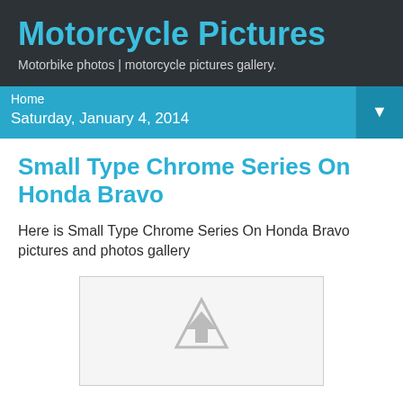Motorcycle Pictures
Motorbike photos | motorcycle pictures gallery.
Home  Saturday, January 4, 2014
Small Type Chrome Series On Honda Bravo
Here is Small Type Chrome Series On Honda Bravo pictures and photos gallery
[Figure (photo): Placeholder image for Small Type Chrome Series On Honda Bravo photo gallery]